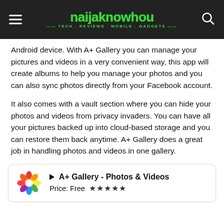naijaknowhou — TECH . REVIEWS . MOBILE . GADGETS
Android device. With A+ Gallery you can manage your pictures and videos in a very convenient way, this app will create albums to help you manage your photos and you can also sync photos directly from your Facebook account.
It also comes with a vault section where you can hide your photos and videos from privacy invaders. You can have all your pictures backed up into cloud-based storage and you can restore them back anytime. A+ Gallery does a great job in handling photos and videos in one gallery.
[Figure (infographic): App card for A+ Gallery - Photos & Videos showing colorful flower icon, app title, Price: Free, and 4 stars rating]